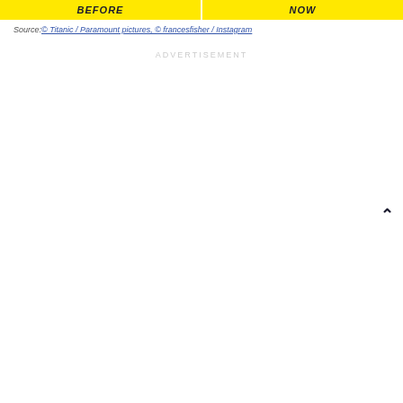[Figure (other): Top banner with two yellow sections labeled BEFORE and NOW]
Source:© Titanic / Paramount pictures, © francesfisher / Instagram
ADVERTISEMENT